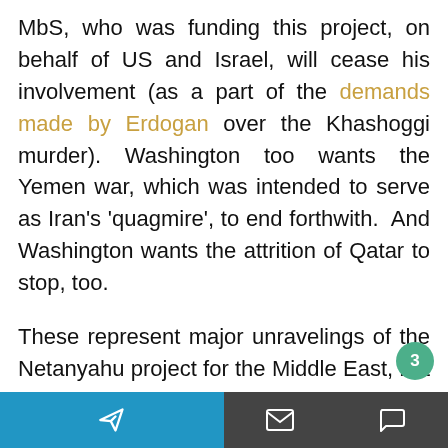MbS, who was funding this project, on behalf of US and Israel, will cease his involvement (as a part of the demands made by Erdogan over the Khashoggi murder). Washington too wants the Yemen war, which was intended to serve as Iran's 'quagmire', to end forthwith. And Washington wants the attrition of Qatar to stop, too.
These represent major unravelings of the Netanyahu project for the Middle East, but most significant are two further setbacks: namely, the loss of Netanyahu's and MbS' stovepipe to Trump, via Jared Kushner, by-passing
[Figure (other): Bottom navigation bar with Telegram send icon on blue background (left half) and envelope and chat bubble icons on dark grey background (right half), plus a green notification badge showing '3']